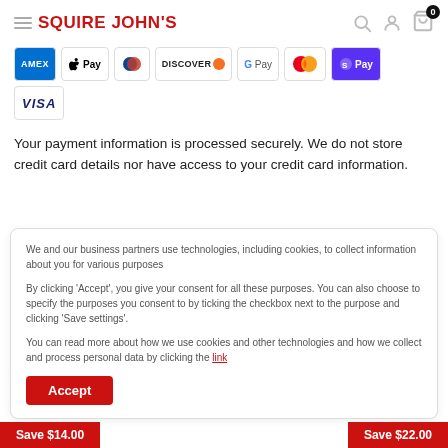Squire John's — navigation header with hamburger menu, logo, search, user, and cart icons
[Figure (logo): Squire John's logo in red and dark text]
[Figure (other): Payment method icons: AMEX, Apple Pay, Diners Club, Discover, Google Pay, Mastercard, ShopPay, VISA]
Your payment information is processed securely. We do not store credit card details nor have access to your credit card information.
We and our business partners use technologies, including cookies, to collect information about you for various purposes
By clicking 'Accept', you give your consent for all these purposes. You can also choose to specify the purposes you consent to by ticking the checkbox next to the purpose and clicking 'Save settings'.
You can read more about how we use cookies and other technologies and how we collect and process personal data by clicking the link
Accept
Save $14.00   Save $22.00